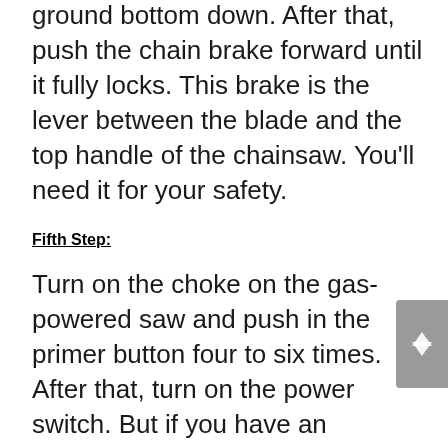ground bottom down. After that, push the chain brake forward until it fully locks. This brake is the lever between the blade and the top handle of the chainsaw. You'll need it for your safety.
Fifth Step:
Turn on the choke on the gas-powered saw and push in the primer button four to six times. After that, turn on the power switch. But if you have an cordless electric chainsaw, simply depress the safety switch and flip on the power switch.